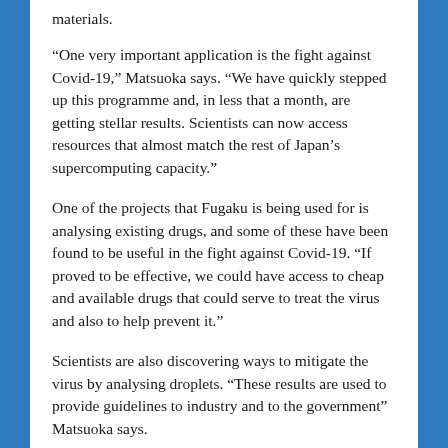materials.
“One very important application is the fight against Covid-19,” Matsuoka says. “We have quickly stepped up this programme and, in less that a month, are getting stellar results. Scientists can now access resources that almost match the rest of Japan’s supercomputing capacity.”
One of the projects that Fugaku is being used for is analysing existing drugs, and some of these have been found to be useful in the fight against Covid-19. “If proved to be effective, we could have access to cheap and available drugs that could serve to treat the virus and also to help prevent it.”
Scientists are also discovering ways to mitigate the virus by analysing droplets. “These results are used to provide guidelines to industry and to the government” Matsuoka says.